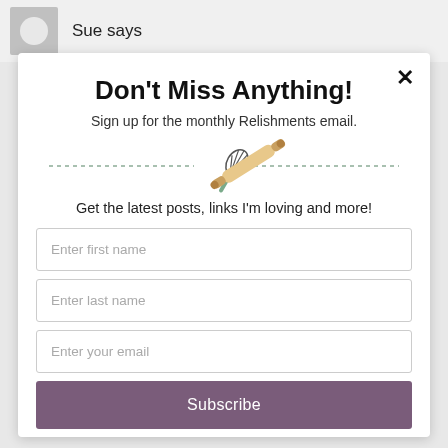Sue says
Don't Miss Anything!
Sign up for the monthly Relishments email.
[Figure (illustration): Crossed whisk and rolling pin illustration with dotted horizontal lines on either side]
Get the latest posts, links I'm loving and more!
Enter first name
Enter last name
Enter your email
Subscribe